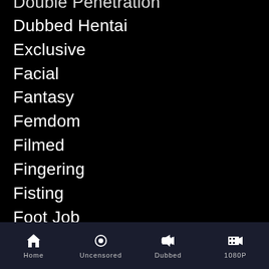Dubbed Hentai
Exclusive
Facial
Fantasy
Femdom
Filmed
Fingering
Fisting
Foot Job
Furry
Futanari
Gangbang
Gender Bender
Ghost
Glasses
Golden Shower
Home  Uncensored  Dubbed  1080P